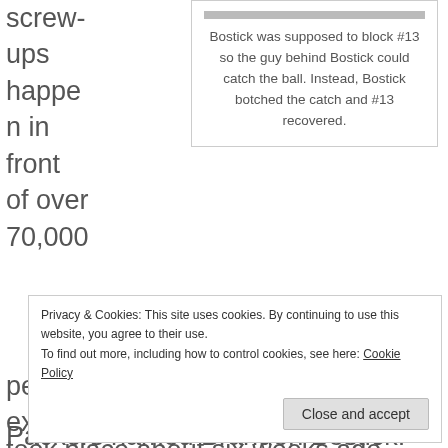screw-ups happen in front of over 70,000
[Figure (photo): Photo of football players at top of quote box]
Bostick was supposed to block #13 so the guy behind Bostick could catch the ball. Instead, Bostick botched the catch and #13 recovered.
people plus millions on TV, but that's exactly what happened to a football player on the Green Bay Packers named Brandon Bostick. He's the player
Privacy & Cookies: This site uses cookies. By continuing to use this website, you agree to their use.
To find out more, including how to control cookies, see here: Cookie Policy
took place about six weeks ago.